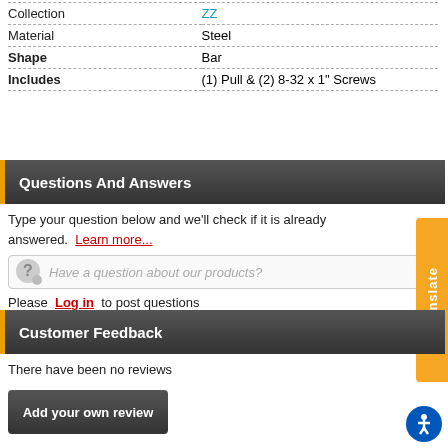| Property | Value |
| --- | --- |
| Collection | ZZ |
| Material | Steel |
| Shape | Bar |
| Includes | (1) Pull & (2) 8-32 x 1" Screws |
Questions And Answers
Type your question below and we'll check if it is already answered. Learn more...
Please Log in to post questions
Customer Feedback
There have been no reviews
Add your own review